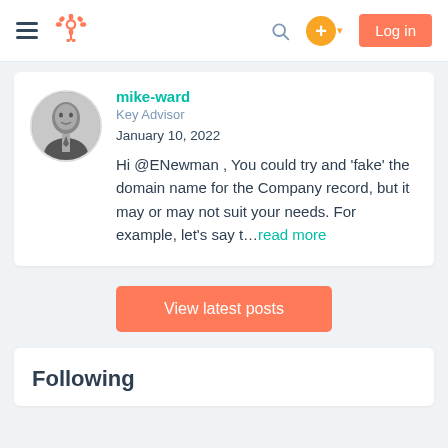HubSpot Community — Navigation bar with hamburger menu, HubSpot logo, search icon, plus button, and Log in button
[Figure (photo): Profile photo of mike-ward, a man in a suit, displayed as a circular grayscale avatar]
mike-ward
Key Advisor
January 10, 2022

Hi @ENewman , You could try and 'fake' the domain name for the Company record, but it may or may not suit your needs. For example, let's say t...read more
View latest posts
Following